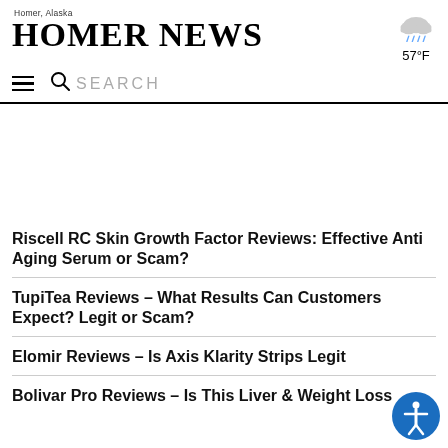Homer News — Homer, Alaska
[Figure (illustration): Rain cloud weather icon with rain drops]
57°F
SEARCH
Riscell RC Skin Growth Factor Reviews: Effective Anti Aging Serum or Scam?
TupiTea Reviews – What Results Can Customers Expect? Legit or Scam?
Elomir Reviews – Is Axis Klarity Strips Legit
Bolivar Pro Reviews – Is This Liver & Weight Loss